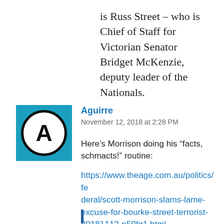is Russ Street – who is Chief of Staff for Victorian Senator Bridget McKenzie, deputy leader of the Nationals.
[Figure (illustration): Square avatar with cyan/teal blue background containing a circular icon with the letter A in bold black]
Aguirre
November 12, 2018 at 2:28 PM
Here’s Morrison doing his “facts, schmacts!” routine:
https://www.theage.com.au/politics/federal/scott-morrison-slams-lame-excuse-for-bourke-street-terrorist-20181112-p50fg1.html